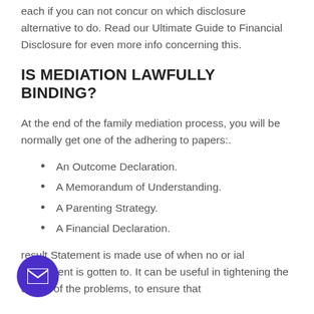each if you can not concur on which disclosure alternative to do. Read our Ultimate Guide to Financial Disclosure for even more info concerning this.
IS MEDIATION LAWFULLY BINDING?
At the end of the family mediation process, you will be normally get one of the adhering to papers:.
An Outcome Declaration.
A Memorandum of Understanding.
A Parenting Strategy.
A Financial Declaration.
result Statement is made use of when no or ial agreement is gotten to. It can be useful in tightening the extent of the problems, to ensure that